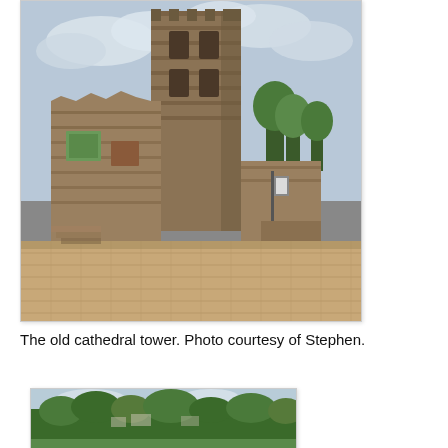[Figure (photo): Photograph of the old cathedral tower ruins. A tall stone tower stands amid crumbling stone walls. The courtyard in front is paved with brick-colored stones. Trees are visible in the background against a cloudy sky.]
The old cathedral tower. Photo courtesy of Stephen.
[Figure (photo): Aerial or distant photograph showing a green treed landscape with buildings in the background.]